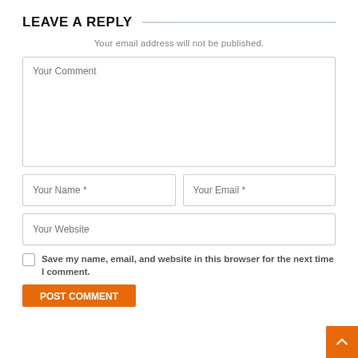LEAVE A REPLY
Your email address will not be published.
[Figure (screenshot): Comment form with fields: Your Comment (textarea), Your Name *, Your Email *, Your Website, a save-info checkbox, and a submit button. An orange back-to-top button is in the bottom right.]